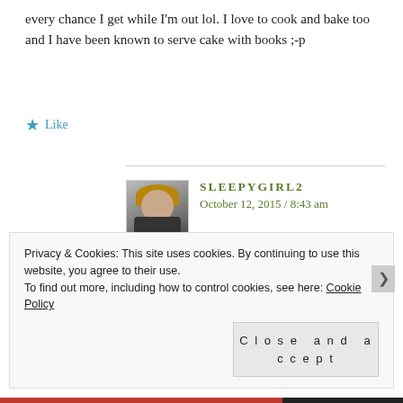every chance I get while I'm out lol. I love to cook and bake too and I have been known to serve cake with books ;-p
Like
SLEEPYGIRL2
October 12, 2015 / 8:43 am
I take my e-reader with me, too. I don't like carrying the big purse I have, but it has to be big enough for my e-reader!
Privacy & Cookies: This site uses cookies. By continuing to use this website, you agree to their use.
To find out more, including how to control cookies, see here: Cookie Policy
Close and accept